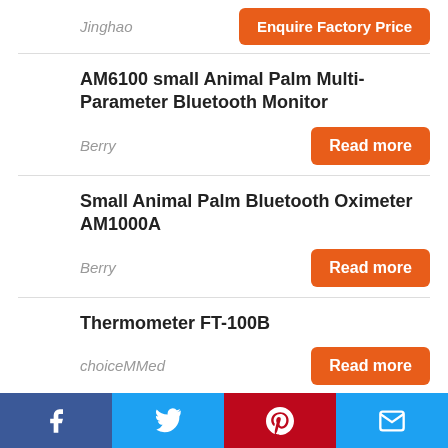Jinghao
Enquire Factory Price
AM6100 small Animal Palm Multi-Parameter Bluetooth Monitor
Berry
Read more
Small Animal Palm Bluetooth Oximeter AM1000A
Berry
Read more
Thermometer FT-100B
choiceMMed
Read more
Wireless Continuous Thermometer T1
choiceMMed
Read more
Facebook Twitter Pinterest Email